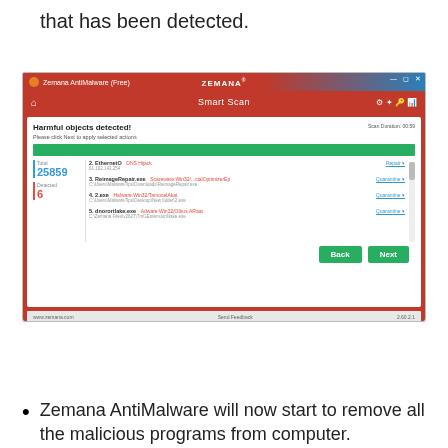that has been detected.
[Figure (screenshot): Zemana AntiMalware (Free) application window showing Smart Scan results. Harmful objects detected! Total: 25859, Detected: 6. List shows: 2. EthernetO - DNS Hijack (Repair), 3. ReimageRepair.exe - Scareware:Win32/...cialOptimizerEp (Quarantine), 4. 2.exe - Halware:Win32/TamocelAkat (Quarantine), 5. dnorortlake.exe - Adware:Win32/Olbus.ARaat (Quarantine). Back and Next buttons at bottom. Version 2.60.2.1]
Zemana AntiMalware will now start to remove all the malicious programs from computer.